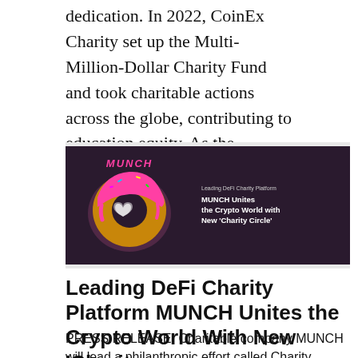dedication. In 2022, CoinEx Charity set up the Multi-Million-Dollar Charity Fund and took charitable actions across the globe, contributing to education equity. As the organization conveys love and warmth, it brings [...]
[Figure (illustration): MUNCH DeFi Charity Platform promotional image on dark purple background. Left side shows a glowing pink donut logo with 'MUNCH' text in pink. Right side shows text: 'Leading DeFi Charity Platform', 'MUNCH Unites the Crypto World with New Charity Circle']
Leading DeFi Charity Platform MUNCH Unites the Crypto World With New 'Charity...
PRESS RELEASE. Charitable company MUNCH will lead a philanthropic effort called Charity Circle, which will donate to charitable global causes using